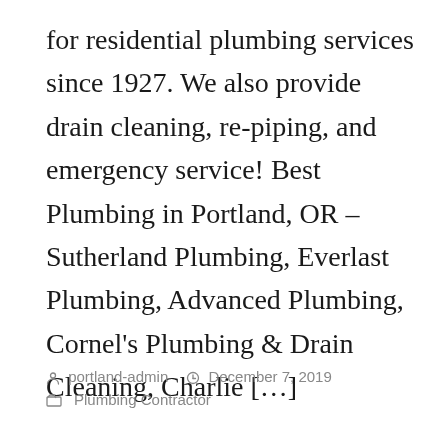for residential plumbing services since 1927. We also provide drain cleaning, re-piping, and emergency service! Best Plumbing in Portland, OR – Sutherland Plumbing, Everlast Plumbing, Advanced Plumbing, Cornel's Plumbing & Drain Cleaning, Charlie […]
portland-admin   December 7, 2019   Plumbing Contractor